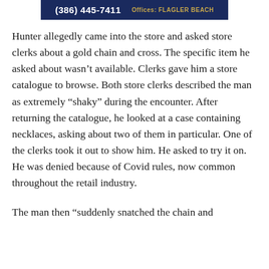(386) 445-7411   Offices: FLAGLER BEACH
Hunter allegedly came into the store and asked store clerks about a gold chain and cross. The specific item he asked about wasn’t available. Clerks gave him a store catalogue to browse. Both store clerks described the man as extremely “shaky” during the encounter. After returning the catalogue, he looked at a case containing necklaces, asking about two of them in particular. One of the clerks took it out to show him. He asked to try it on. He was denied because of Covid rules, now common throughout the retail industry.
The man then “suddenly snatched the chain and ...